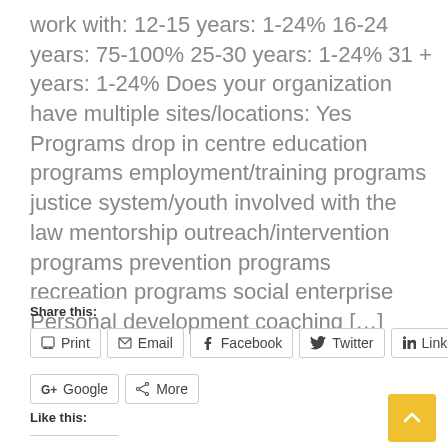work with: 12-15 years: 1-24% 16-24 years: 75-100% 25-30 years: 1-24% 31 + years: 1-24% Does your organization have multiple sites/locations: Yes Programs drop in centre education programs employment/training programs justice system/youth involved with the law mentorship outreach/intervention programs prevention programs recreation programs social enterprise Personal development coaching [...]
Share this:
Print | Email | Facebook | Twitter | LinkedIn | Google | More
Like this: